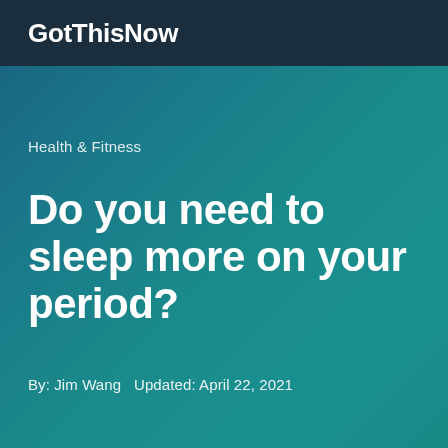GotThisNow
Health & Fitness
Do you need to sleep more on your period?
By: Jim Wang  Updated: April 22, 2021